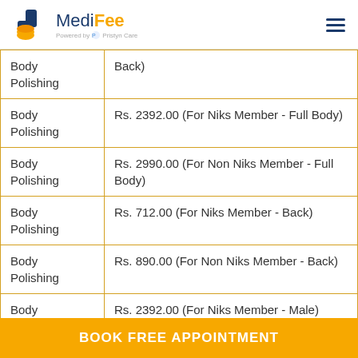MediFee - Powered by Pristyn Care
| Service | Price |
| --- | --- |
| Body Polishing | Back) |
| Body Polishing | Rs. 2392.00 (For Niks Member - Full Body) |
| Body Polishing | Rs. 2990.00 (For Non Niks Member - Full Body) |
| Body Polishing | Rs. 712.00 (For Niks Member - Back) |
| Body Polishing | Rs. 890.00 (For Non Niks Member - Back) |
| Body Polishing | Rs. 2392.00 (For Niks Member - Male) |
BOOK FREE APPOINTMENT